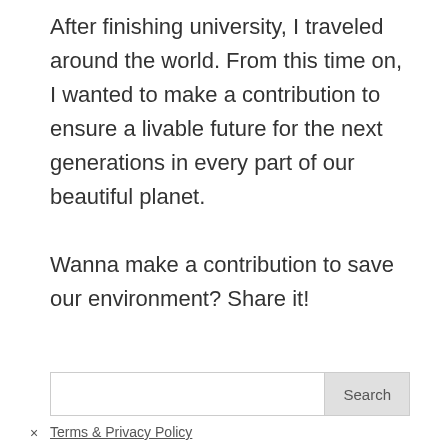After finishing university, I traveled around the world. From this time on, I wanted to make a contribution to ensure a livable future for the next generations in every part of our beautiful planet.
Wanna make a contribution to save our environment? Share it!
Search
Terms & Privacy Policy